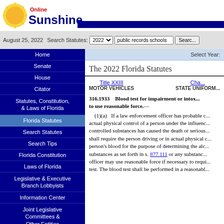[Figure (logo): Online Sunshine Florida Legislature logo with sun graphic]
August 25, 2022   Search Statutes: 2022  public records schools  Search
Home
Senate
House
Citator
Statutes, Constitution, & Laws of Florida
Florida Statutes
Search Statutes
Search Tips
Florida Constitution
Laws of Florida
Legislative & Executive Branch Lobbyists
Information Center
Joint Legislative Committees & Other Entities
Historical Committees
Florida Government Efficiency Task Force
Legislative Employment
Legistore
Select Year:
The 2022 Florida Statutes
Title XXIII
MOTOR VEHICLES
Cha...
STATE UNIFORM...
316.1933   Blood test for impairment or intox... to use reasonable force.—
(1)(a)   If a law enforcement officer has probable ... actual physical control of a person under the influenc... controlled substances has caused the death or serious... shall require the person driving or in actual physical c... person's blood for the purpose of determining the alc... substances as set forth in s. 877.111 or any substanc... officer may use reasonable force if necessary to requi... test. The blood test shall be performed in a reasonabl...